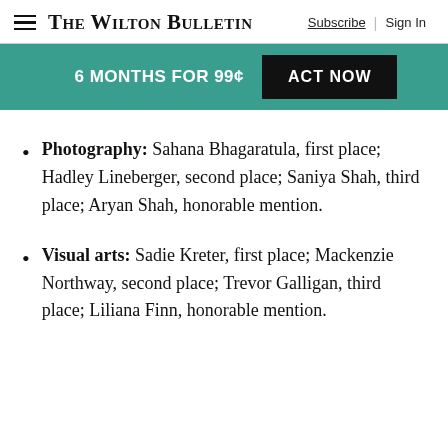The Wilton Bulletin — Subscribe | Sign In
[Figure (infographic): Green promotional banner with white text '6 MONTHS FOR 99¢' and a black button labeled 'ACT NOW']
Photography: Sahana Bhagaratula, first place; Hadley Lineberger, second place; Saniya Shah, third place; Aryan Shah, honorable mention.
Visual arts: Sadie Kreter, first place; Mackenzie Northway, second place; Trevor Galligan, third place; Liliana Finn, honorable mention.